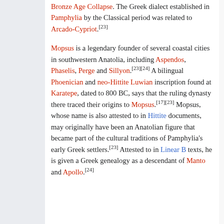Bronze Age Collapse. The Greek dialect established in Pamphylia by the Classical period was related to Arcado-Cypriot.[23]
Mopsus is a legendary founder of several coastal cities in southwestern Anatolia, including Aspendos, Phaselis, Perge and Sillyon.[23][24] A bilingual Phoenician and neo-Hittite Luwian inscription found at Karatepe, dated to 800 BC, says that the ruling dynasty there traced their origins to Mopsus.[17][23] Mopsus, whose name is also attested to in Hittite documents, may originally have been an Anatolian figure that became part of the cultural traditions of Pamphylia's early Greek settlers.[23] Attested to in Linear B texts, he is given a Greek genealogy as a descendant of Manto and Apollo.[24]